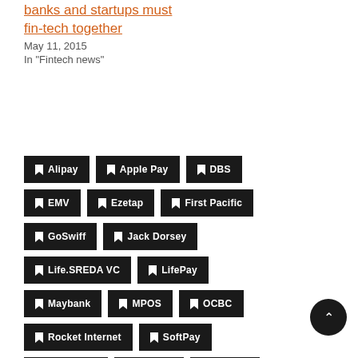banks and startups must build fin-tech together
May 11, 2015
In "Fintech news"
Alipay
Apple Pay
DBS
EMV
Ezetap
First Pacific
GoSwiff
Jack Dorsey
Life.SREDA VC
LifePay
Maybank
MPOS
OCBC
Rocket Internet
SoftPay
SoftSpace
Square
SumUp
Twitter
UOB